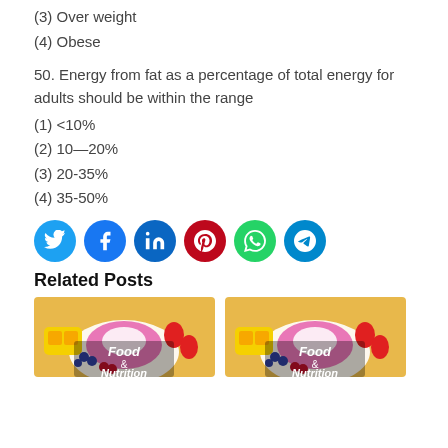(3) Over weight
(4) Obese
50. Energy from fat as a percentage of total energy for adults should be within the range
(1) <10%
(2) 10—20%
(3) 20-35%
(4) 35-50%
[Figure (infographic): Social media share buttons: Twitter (blue), Facebook (blue), LinkedIn (dark blue), Pinterest (red), WhatsApp (green), Telegram (blue)]
Related Posts
[Figure (photo): Food & Nutrition related post thumbnail image showing colorful fruits and bowls]
[Figure (photo): Food & Nutrition related post thumbnail image showing colorful fruits and bowls]